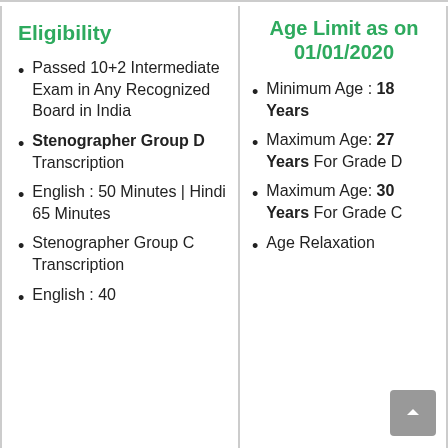Eligibility
Passed 10+2 Intermediate Exam in Any Recognized Board in India
Stenographer Group D Transcription
English : 50 Minutes | Hindi 65 Minutes
Stenographer Group C Transcription
English : 40
Age Limit as on 01/01/2020
Minimum Age : 18 Years
Maximum Age: 27 Years For Grade D
Maximum Age: 30 Years For Grade C
Age Relaxation